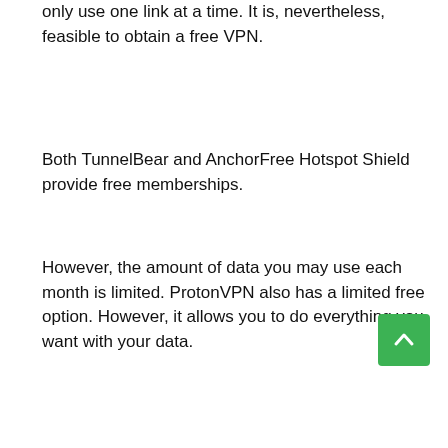only use one link at a time. It is, nevertheless, feasible to obtain a free VPN.
Both TunnelBear and AnchorFree Hotspot Shield provide free memberships.
However, the amount of data you may use each month is limited. ProtonVPN also has a limited free option. However, it allows you to do everything you want with your data.